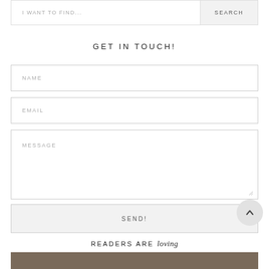I WANT TO FIND...
SEARCH
GET IN TOUCH!
NAME
EMAIL
MESSAGE
SEND!
READERS ARE loving